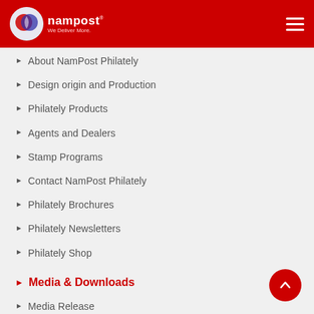NamPost - We Deliver More.
About NamPost Philately
Design origin and Production
Philately Products
Agents and Dealers
Stamp Programs
Contact NamPost Philately
Philately Brochures
Philately Newsletters
Philately Shop
Media & Downloads
Media Release
News and Events
Corporate Responsibility
Contact Us